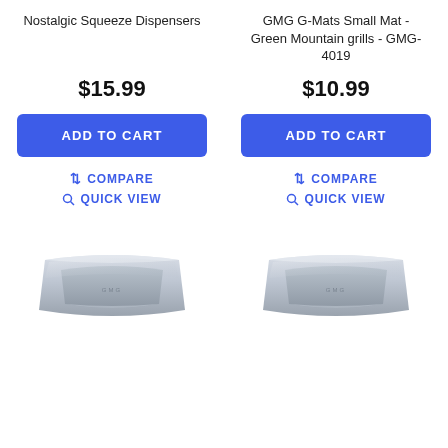Nostalgic Squeeze Dispensers
GMG G-Mats Small Mat - Green Mountain grills - GMG-4019
$15.99
$10.99
ADD TO CART
ADD TO CART
↑↓ COMPARE
↑↓ COMPARE
🔍 QUICK VIEW
🔍 QUICK VIEW
[Figure (photo): Silver rectangular stainless steel tray (left product)]
[Figure (photo): Silver rectangular stainless steel tray (right product)]